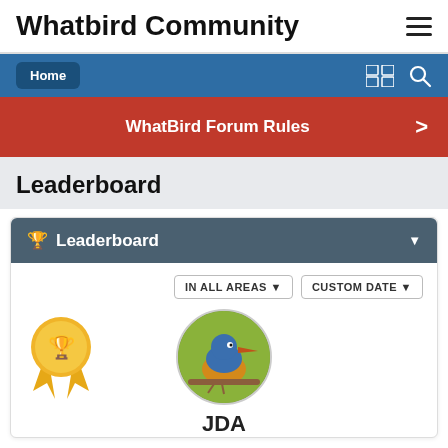Whatbird Community
Home
WhatBird Forum Rules >
Leaderboard
🏆 Leaderboard
IN ALL AREAS▾  CUSTOM DATE▾
[Figure (photo): Circular avatar photo of a bird (kingfisher) perched on a branch, with a gold medal/ribbon badge on the left]
JDA